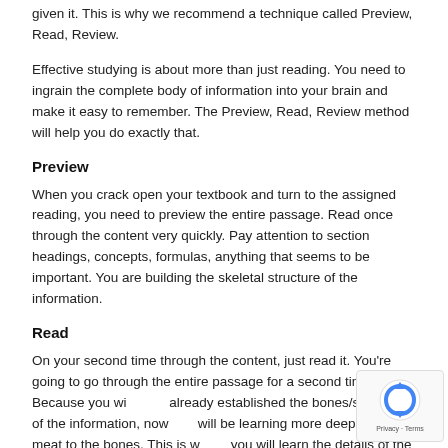given it. This is why we recommend a technique called Preview, Read, Review.
Effective studying is about more than just reading. You need to ingrain the complete body of information into your brain and make it easy to remember. The Preview, Read, Review method will help you do exactly that.
Preview
When you crack open your textbook and turn to the assigned reading, you need to preview the entire passage. Read once through the content very quickly. Pay attention to section headings, concepts, formulas, anything that seems to be important. You are building the skeletal structure of the information.
Read
On your second time through the content, just read it. You're going to go through the entire passage for a second time. Because you will have already established the bones/structure of the information, now you will be learning more deeply, adding meat to the bones. This is where you will learn the details of the information and begin to ingrain it